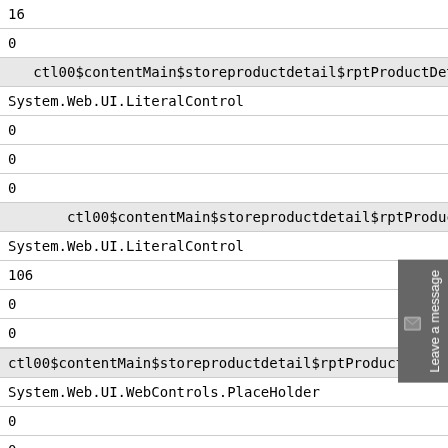| 16 |
| 0 |
| ctl00$contentMain$storeproductdetail$rptProductDetai |
| System.Web.UI.LiteralControl |
| 0 |
| 0 |
| 0 |
| ctl00$contentMain$storeproductdetail$rptProductD |
| System.Web.UI.LiteralControl |
| 106 |
| 0 |
| 0 |
| ctl00$contentMain$storeproductdetail$rptProductDetail$c |
| System.Web.UI.WebControls.PlaceHolder |
| 0 |
| 0 |